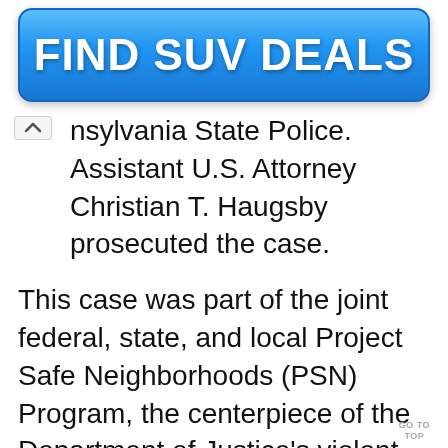[Figure (other): Blue gradient advertisement banner button with text FIND SUV DEALS in bold white letters]
nsylvania State Police.  Assistant U.S. Attorney Christian T. Haugsby prosecuted the case.
This case was part of the joint federal, state, and local Project Safe Neighborhoods (PSN) Program, the centerpiece of the Department of Justice's violent crime reduction efforts.  PSN is an evidence-based program proven to be effective at reducing violent crime.